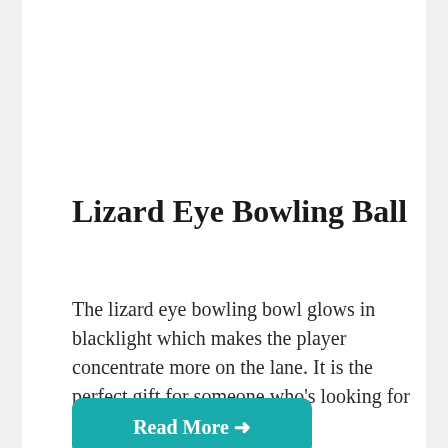[Figure (photo): Close-up of a lizard eye bowling ball with green scaly texture and red/orange eye pattern in center, on black background]
Lizard Eye Bowling Ball
The lizard eye bowling bowl glows in blacklight which makes the player concentrate more on the lane. It is the perfect gift for someone who’s looking for spare.
Read More →